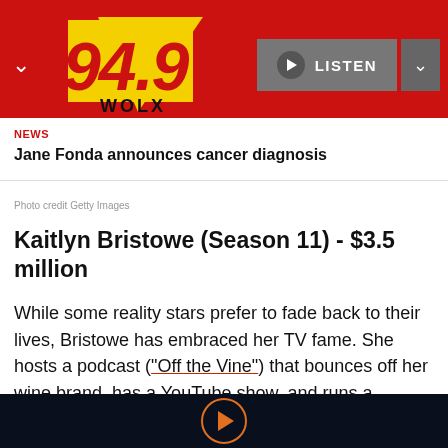[Figure (logo): 94.9 WOLX radio station logo on red background with yellow triangle graphic, plus LISTEN button and navigation chevrons]
NEWS
Jane Fonda announces cancer diagnosis
Photo credit Getty Images
Kaitlyn Bristowe (Season 11) - $3.5 million
While some reality stars prefer to fade back to their lives, Bristowe has embraced her TV fame. She hosts a podcast ("Off the Vine") that bounces off her wine brand, has a YouTube show, and runs a